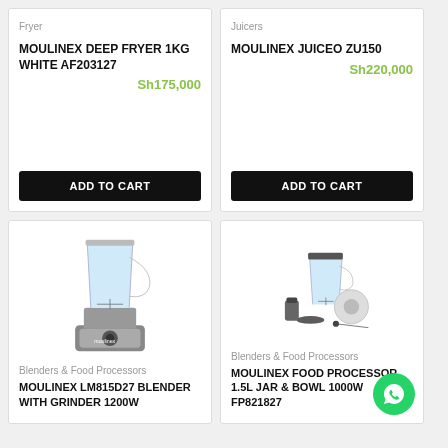Fryer
MOULINEX DEEP FRYER 1KG WHITE AF203127
Sh175,000
ADD TO CART
Juicers
MOULINEX JUICEO ZU150
Sh220,000
ADD TO CART
[Figure (photo): Moulinex LM815D27 blender with grinder, silver/stainless body, glass jar]
Blenders & Food Processors
MOULINEX LM815D27 BLENDER WITH GRINDER 1200W
[Figure (photo): Moulinex Food Processor with 1.5L jar, bowl, and various accessories laid out]
Blenders & Food Processors
MOULINEX FOOD PROCESSOR 1.5L JAR & BOWL 1000W FP821827